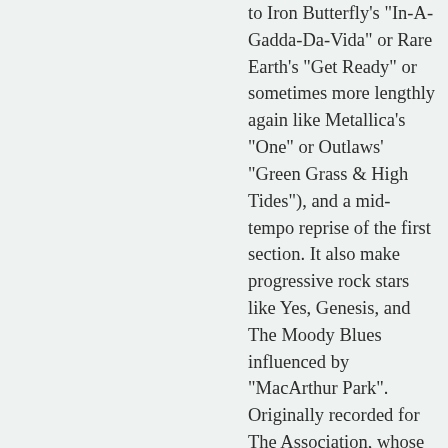to Iron Butterfly's "In-A-Gadda-Da-Vida" or Rare Earth's "Get Ready" or sometimes more lengthly again like Metallica's "One" or Outlaws' "Green Grass & High Tides"), and a mid-tempo reprise of the first section. It also make progressive rock stars like Yes, Genesis, and The Moody Blues influenced by "MacArthur Park". Originally recorded for The Association, whose members rejected it because they're fear with its length, complex structure, and unorthodox lyrics that make listeners get boring and will close their ears. The last chance for Jimmy was giving to